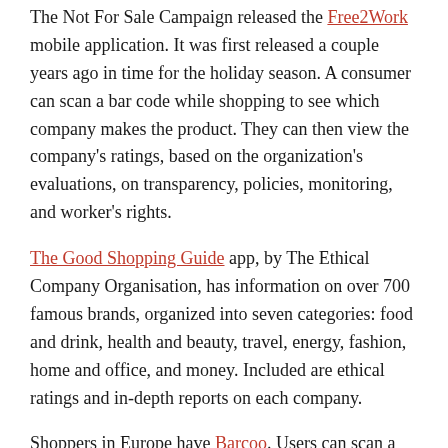The Not For Sale Campaign released the Free2Work mobile application. It was first released a couple years ago in time for the holiday season. A consumer can scan a bar code while shopping to see which company makes the product. They can then view the company's ratings, based on the organization's evaluations, on transparency, policies, monitoring, and worker's rights.
The Good Shopping Guide app, by The Ethical Company Organisation, has information on over 700 famous brands, organized into seven categories: food and drink, health and beauty, travel, energy, fashion, home and office, and money. Included are ethical ratings and in-depth reports on each company.
Shoppers in Europe have Barcoo. Users can scan a barcode to find information such as sustainability, nutritional information and a seasonal vegetables list.